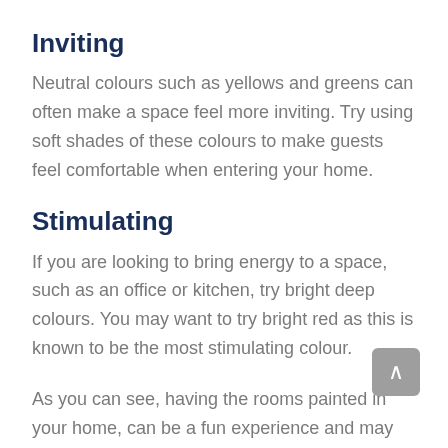Inviting
Neutral colours such as yellows and greens can often make a space feel more inviting. Try using soft shades of these colours to make guests feel comfortable when entering your home.
Stimulating
If you are looking to bring energy to a space, such as an office or kitchen, try bright deep colours. You may want to try bright red as this is known to be the most stimulating colour.
As you can see, having the rooms painted in your home, can be a fun experience and may just change the way you view your home. If you are still not